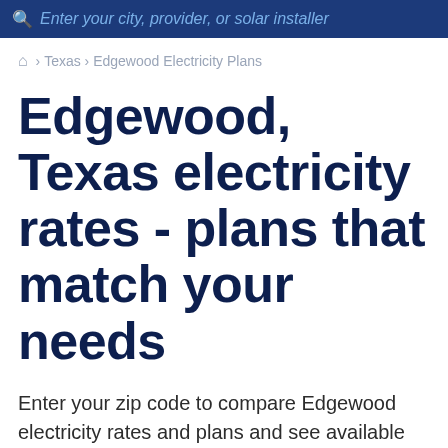Enter your city, provider, or solar installer
🏠 › Texas › Edgewood Electricity Plans
Edgewood, Texas electricity rates - plans that match your needs
Enter your zip code to compare Edgewood electricity rates and plans and see available electric companies.